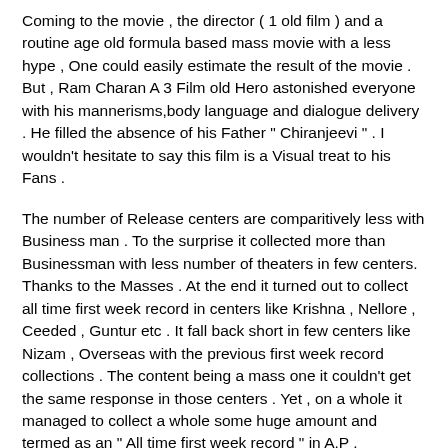Coming to the movie , the director ( 1 old film ) and a routine age old formula based mass movie with a less hype , One could easily estimate the result of the movie . But , Ram Charan A 3 Film old Hero astonished everyone with his mannerisms,body language and dialogue delivery . He filled the absence of his Father " Chiranjeevi " . I wouldn't hesitate to say this film is a Visual treat to his Fans .
The number of Release centers are comparitively less with Business man . To the surprise it collected more than Businessman with less number of theaters in few centers. Thanks to the Masses . At the end it turned out to collect all time first week record in centers like Krishna , Nellore , Ceeded , Guntur etc . It fall back short in few centers like Nizam , Overseas with the previous first week record collections . The content being a mass one it couldn't get the same response in those centers . Yet , on a whole it managed to collect a whole some huge amount and termed as an " All time first week record " in A.P .
Records are meant to be broken , nothing to worry about it . With the coming releases like Gabbar Singh and Dhammu ,